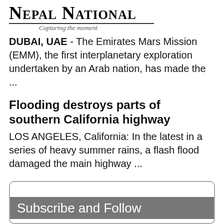Nepal National — Capturing the moment
DUBAI, UAE - The Emirates Mars Mission (EMM), the first interplanetary exploration undertaken by an Arab nation, has made the ...
Flooding destroys parts of southern California highway
LOS ANGELES, California: In the latest in a series of heavy summer rains, a flash flood damaged the main highway ...
Subscribe and Follow